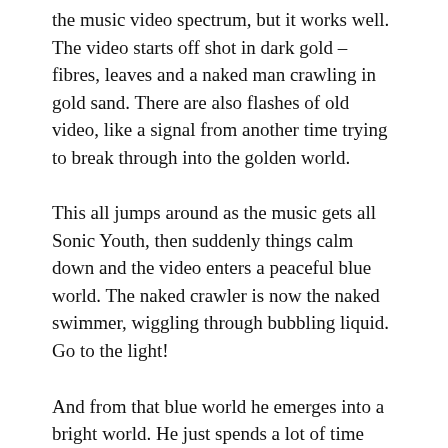the music video spectrum, but it works well. The video starts off shot in dark gold – fibres, leaves and a naked man crawling in gold sand. There are also flashes of old video, like a signal from another time trying to break through into the golden world.
This all jumps around as the music gets all Sonic Youth, then suddenly things calm down and the video enters a peaceful blue world. The naked crawler is now the naked swimmer, wiggling through bubbling liquid. Go to the light!
And from that blue world he emerges into a bright world. He just spends a lot of time standing upright, waving his arms around. And yeah, this is what you'd probably do if you'd just gone through a kind of rebirthing experience. Fade to white.
This video works really well. Directed by Richard